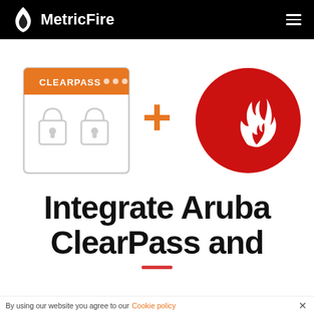MetricFire
[Figure (illustration): Illustration showing ClearPass logo (browser window with two padlocks labeled CLEARPASS) plus sign (+) and MetricFire logo (red circle with white flame) side by side]
Integrate Aruba ClearPass and
By using our website you agree to our Cookie policy